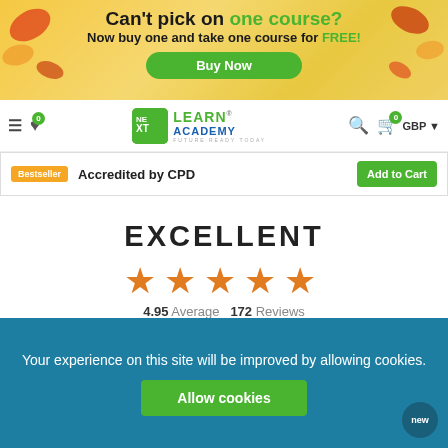[Figure (screenshot): Promotional banner with autumn leaves background. Text: 'Can't pick on one course? Now buy one and take one course for FREE!' with a green 'Buy Now' button.]
[Figure (screenshot): Navigation bar with hamburger menu, heart icon with badge '0', Next Learn Academy logo, search icon, cart icon with badge '0', GBP currency selector.]
Bestseller   Accredited by CPD   Add to Cart
EXCELLENT
[Figure (other): Five orange star rating icons]
4.95 Average  172 Reviews
Your experience on this site will be improved by allowing cookies.
Allow cookies